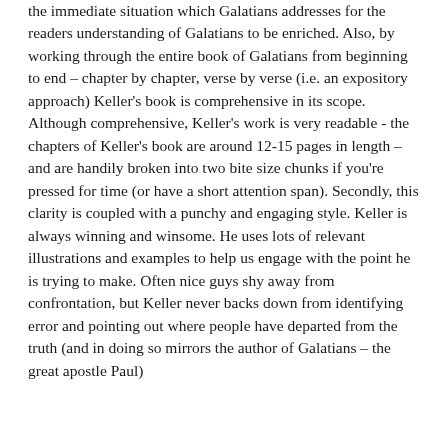the immediate situation which Galatians addresses for the readers understanding of Galatians to be enriched. Also, by working through the entire book of Galatians from beginning to end – chapter by chapter, verse by verse (i.e. an expository approach) Keller's book is comprehensive in its scope. Although comprehensive, Keller's work is very readable - the chapters of Keller's book are around 12-15 pages in length – and are handily broken into two bite size chunks if you're pressed for time (or have a short attention span). Secondly, this clarity is coupled with a punchy and engaging style. Keller is always winning and winsome. He uses lots of relevant illustrations and examples to help us engage with the point he is trying to make. Often nice guys shy away from confrontation, but Keller never backs down from identifying error and pointing out where people have departed from the truth (and in doing so mirrors the author of Galatians – the great apostle Paul)